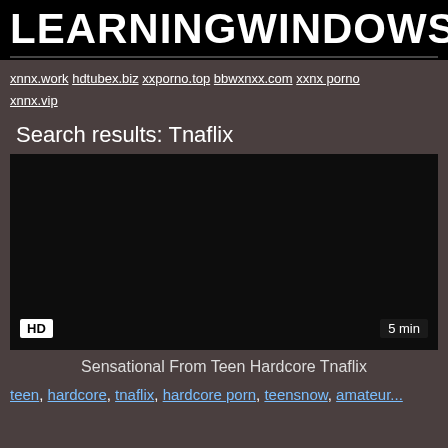LEARNINGWINDOWSPH
xnnx.work hdtubex.biz xxporno.top bbwxnxx.com xxnx porno xnnx.vip
Search results: Tnaflix
[Figure (screenshot): Dark video thumbnail with HD badge at bottom left and 5 min duration badge at bottom right]
Sensational From Teen Hardcore Tnaflix
teen, hardcore, tnaflix, hardcore porn, teensnow, amateur...